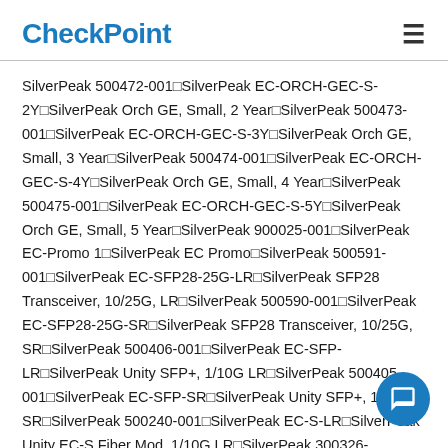CheckPoint
SilverPeak 500472-001□SilverPeak EC-ORCH-GEC-S-2Y□SilverPeak Orch GE, Small, 2 Year□SilverPeak 500473-001□SilverPeak EC-ORCH-GEC-S-3Y□SilverPeak Orch GE, Small, 3 Year□SilverPeak 500474-001□SilverPeak EC-ORCH-GEC-S-4Y□SilverPeak Orch GE, Small, 4 Year□SilverPeak 500475-001□SilverPeak EC-ORCH-GEC-S-5Y□SilverPeak Orch GE, Small, 5 Year□SilverPeak 900025-001□SilverPeak EC-Promo 1□SilverPeak EC Promo□SilverPeak 500591-001□SilverPeak EC-SFP28-25G-LR□SilverPeak SFP28 Transceiver, 10/25G, LR□SilverPeak 500590-001□SilverPeak EC-SFP28-25G-SR□SilverPeak SFP28 Transceiver, 10/25G, SR□SilverPeak 500406-001□SilverPeak EC-SFP-LR□SilverPeak Unity SFP+, 1/10G LR□SilverPeak 500405-001□SilverPeak EC-SFP-SR□SilverPeak Unity SFP+, 1/10G SR□SilverPeak 500240-001□SilverPeak EC-S-LR□SilverPeak Unity EC-S Fiber Mod, 1/10G LR□SilverPeak 300326-002R□SilverPeak EC-S-MAINT-1MO-R□SilverPeak Unity Chas, 1MO-Maint-R□SilverPeak 500618-004□SilverPeak EC-S-P□